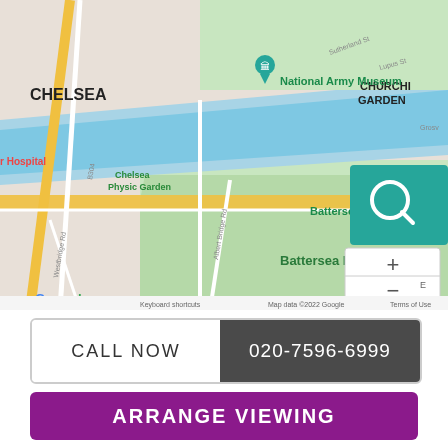[Figure (map): Google Map showing Chelsea, Battersea Park, Battersea Power Station, National Army Museum, River Thames, Chelsea Physic Garden, and surrounding London streets including A3216, A3220, A3205, B302. Map includes zoom controls and a search icon overlay. Map data ©2022 Google.]
CALL NOW   020-7596-6999
ARRANGE VIEWING